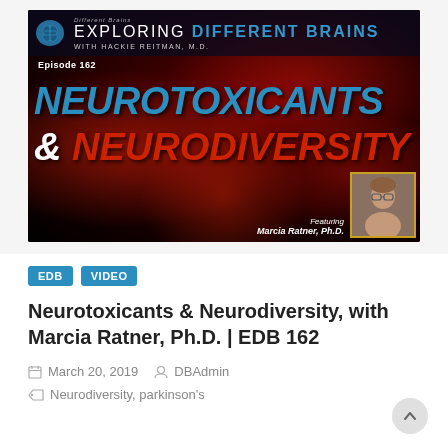[Figure (screenshot): Thumbnail image for 'Exploring Different Brains with Hackie Reitman, M.D.' Episode 162. Dark red swirling background with large text 'NEUROTOXICANTS & NEURODIVERSITY'. Features brain logo, episode label, and portrait of Marcia Ratner, Ph.D. in bottom right corner.]
EDB
VIDEO
Neurotoxicants & Neurodiversity, with Marcia Ratner, Ph.D. | EDB 162
March 20, 2019   DBAdmin
Neurodiversity, parkinson's